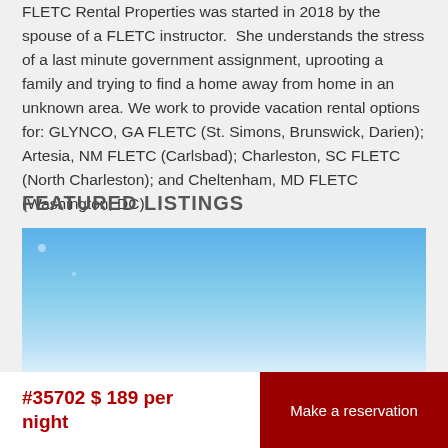FLETC Rental Properties was started in 2018 by the spouse of a FLETC instructor. She understands the stress of a last minute government assignment, uprooting a family and trying to find a home away from home in an unknown area. We work to provide vacation rental options for: GLYNCO, GA FLETC (St. Simons, Brunswick, Darien); Artesia, NM FLETC (Carlsbad); Charleston, SC FLETC (North Charleston); and Cheltenham, MD FLETC (Washington, DC).
FEATURED LISTINGS
[Figure (photo): A blue sky outdoor photo of a property listing]
#35702 $ 189 per night
Make a reservation